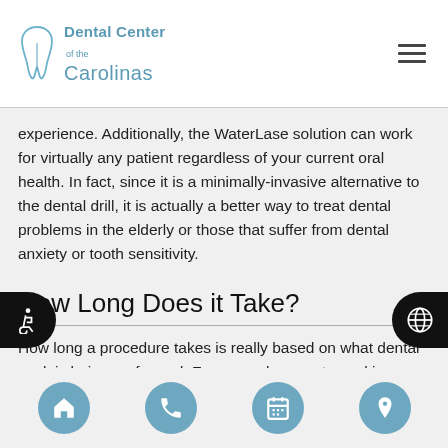Dental Center of the Carolinas
experience. Additionally, the WaterLase solution can work for virtually any patient regardless of your current oral health. In fact, since it is a minimally-invasive alternative to the dental drill, it is actually a better way to treat dental problems in the elderly or those that suffer from dental anxiety or tooth sensitivity.
How Long Does it Take?
How long a procedure takes is really based on what dental work is being performed. For example, a root canal is always going to take longer than treating the